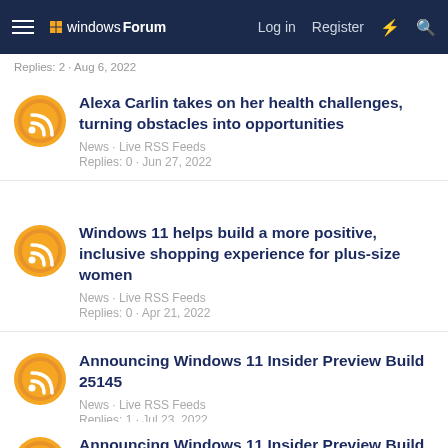windowsForum — Log in Register
Replies: 2 · Aug 6, 2022
Alexa Carlin takes on her health challenges, turning obstacles into opportunities
News · Live RSS Feeds
Replies: 0 · Jun 27, 2022
Windows 11 helps build a more positive, inclusive shopping experience for plus-size women
News · Live RSS Feeds
Replies: 0 · Apr 21, 2022
Announcing Windows 11 Insider Preview Build 25145
News · Live RSS Feeds
Replies: 1 · Jul 23, 2022
Announcing Windows 11 Insider Preview Build 25500